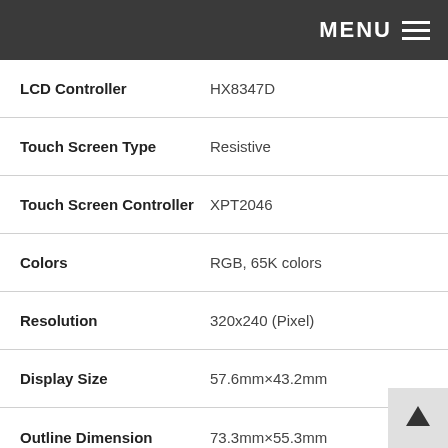MENU
| Property | Value |
| --- | --- |
| LCD Controller | HX8347D |
| Touch Screen Type | Resistive |
| Touch Screen Controller | XPT2046 |
| Colors | RGB, 65K colors |
| Resolution | 320x240 (Pixel) |
| Display Size | 57.6mm×43.2mm |
| Outline Dimension | 73.3mm×55.3mm |